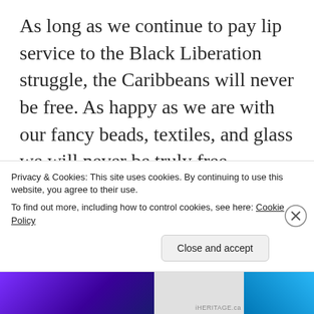As long as we continue to pay lip service to the Black Liberation struggle, the Caribbeans will never be free. As happy as we are with our fancy beads, textiles, and glass we will never be truly free. Because we were taught to be subserviently gathered around the massa’s commonwealth table waiting for the crumbs that fall to the ground hoping to snatch it before other scavengers
Privacy & Cookies: This site uses cookies. By continuing to use this website, you agree to their use.
To find out more, including how to control cookies, see here: Cookie Policy
Close and accept